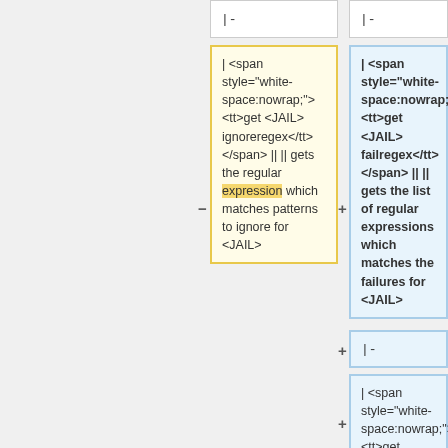|- (left header cell)
|- (right header cell)
| <span style="white-space:nowrap;"><tt>get <JAIL> ignoreregex</tt></span> || || gets the regular expression which matches patterns to ignore for <JAIL>
| <span style="white-space:nowrap;"><tt>get <JAIL> failregex</tt></span> || || gets the list of regular expressions which matches the failures for <JAIL>
|- (right second header)
| <span style="white-space:nowrap;"><tt>get <JAIL> ignoreregex</tt></span> || || gets the list of regular expressions which matches patterns to ignore for <JAIL>